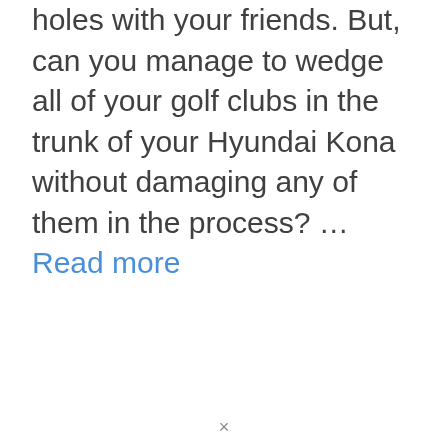holes with your friends. But, can you manage to wedge all of your golf clubs in the trunk of your Hyundai Kona without damaging any of them in the process? … Read more